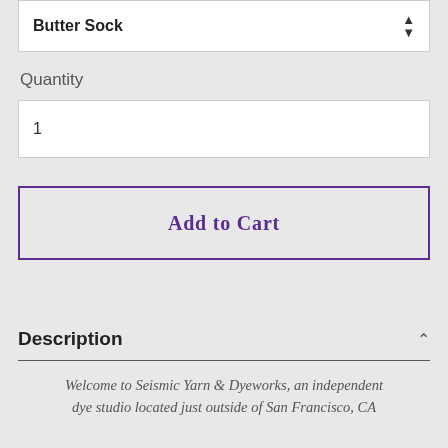Butter Sock
Quantity
1
Add to Cart
Description
Welcome to Seismic Yarn & Dyeworks, an independent dye studio located just outside of San Francisco, CA